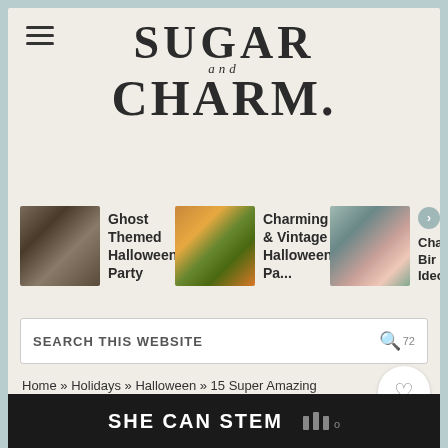[Figure (logo): Sugar and Charm website logo in large serif bold text]
[Figure (screenshot): Horizontal scrollable article thumbnails: Ghost Themed Halloween Party, Charming & Vintage Halloween Pa..., and a third partially visible article]
SEARCH THIS WEBSITE
Home » Holidays » Halloween » 15 Super Amazing and Fun Halloween Party Ideas
15 SUPER AMAZING
[Figure (other): SHE CAN STEM advertisement banner at the bottom of the page]